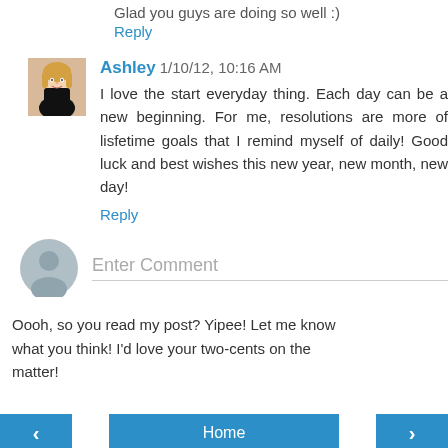Glad you guys are doing so well :)
Reply
Ashley  1/10/12, 10:16 AM
I love the start everyday thing. Each day can be a new beginning. For me, resolutions are more of lisfetime goals that I remind myself of daily! Good luck and best wishes this new year, new month, new day!
Reply
Enter Comment
Oooh, so you read my post? Yipee! Let me know what you think! I'd love your two-cents on the matter!
< Home >